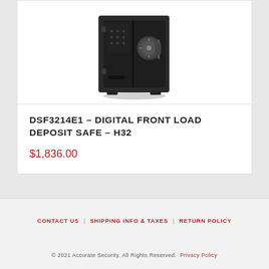[Figure (photo): Black digital front load deposit safe with combination dial and handle on a white background]
DSF3214E1 – DIGITAL FRONT LOAD DEPOSIT SAFE – H32
$1,836.00
CONTACT US   SHIPPING INFO & TAXES   RETURN POLICY
© 2021 Accurate Security. All Rights Reserved. Privacy Policy